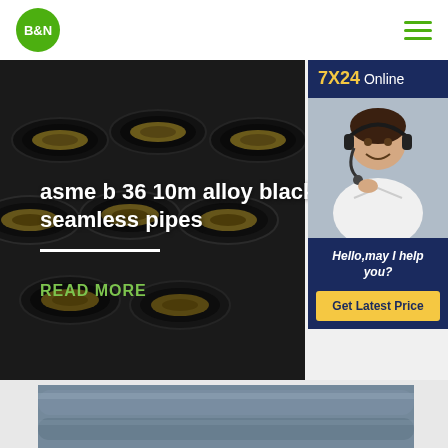[Figure (logo): B&N logo — green circle with white bold text B&N]
[Figure (illustration): Hamburger menu icon with three green horizontal lines]
[Figure (photo): Stack of black insulated seamless steel pipes in industrial setting]
asme b 36 10m alloy black s seamless pipes
READ MORE
[Figure (photo): Customer service representative with headset — 7X24 Online chat widget with Get Latest Price button]
[Figure (photo): Partial view of gray metallic pipes at bottom of page]